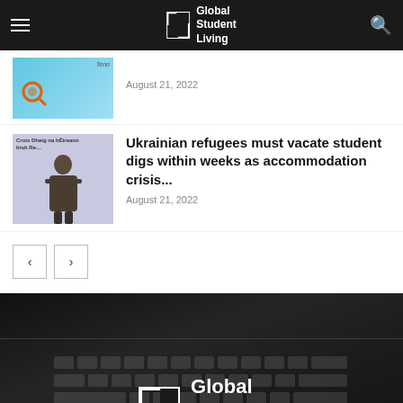Global Student Living
August 21, 2022
Ukrainian refugees must vacate student digs within weeks as accommodation crisis...
August 21, 2022
[Figure (logo): Global Student Living logo on dark laptop background footer]
[Figure (logo): Global Student Living footer logo with icon and text]